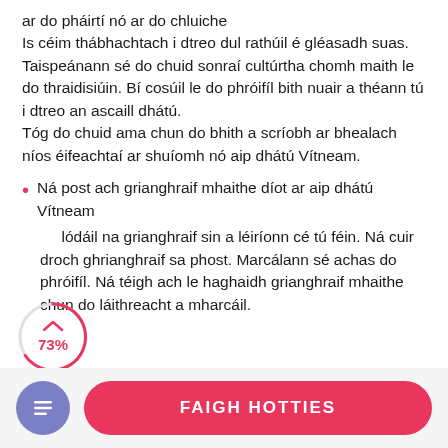ar do pháirtí nó ar do chluiche Is céim thábhachtach i dtreo dul rathúil é gléasadh suas. Taispeánann sé do chuid sonraí cultúrtha chomh maith le do thraidisiúin. Bí cosúil le do phróifíl bith nuair a théann tú i dtreo an ascaill dhátú. Tóg do chuid ama chun do bhith a scríobh ar bhealach níos éifeachtaí ar shuíomh nó aip dhátú Vítneam.
Ná post ach grianghraif mhaithe díot ar aip dhátú Vítneam
lódáil na grianghraif sin a léiríonn cé tú féin. Ná cuir droch ghrianghraif sa phost. Marcálann sé achas do phróifíl. Ná téigh ach le haghaidh grianghraif mhaithe chun do láithreacht a mharcáil.
[Figure (infographic): Circular progress indicator showing 73% in pink/red text with a partial arc outline]
FAIGH HOTTIES